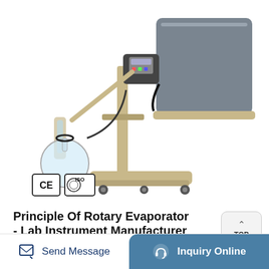[Figure (photo): Rotary evaporator laboratory instrument on a white background, showing a glass flask, condenser, motor unit, and a large grey heating bath on a beige stand with wheels. CE and ISO certification badges visible in lower left.]
Principle Of Rotary Evaporator - Lab Instrument Manufacturer
Popular Answers (1) The rotary evaporator utilizes a vacuum system wherein extracts could concentrated and solvents recovered at reduced temperature and pressure; local overheating is ...
Learn More
Send Message
Inquiry Online